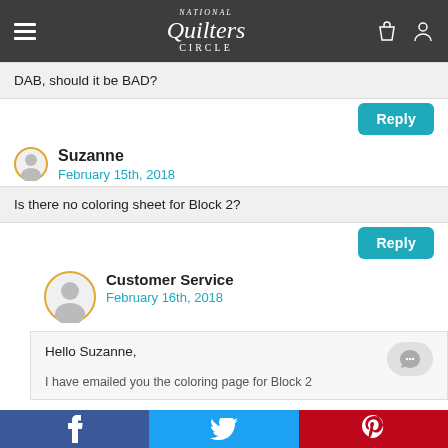National Quilters Circle
DAB, should it be BAD?
Reply
Suzanne
February 15th, 2018
Is there no coloring sheet for Block 2?
Reply
Customer Service
February 16th, 2018
Hello Suzanne,

I have emailed you the coloring page for Block 2